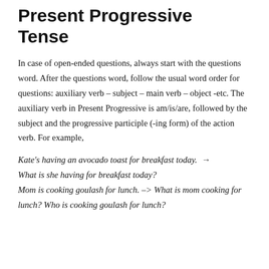Open-ended questions in Present Progressive Tense
In case of open-ended questions, always start with the questions word. After the questions word, follow the usual word order for questions: auxiliary verb – subject – main verb – object -etc. The auxiliary verb in Present Progressive is am/is/are, followed by the subject and the progressive participle (-ing form) of the action verb. For example,
Kate's having an avocado toast for breakfast today.  →  What is she having for breakfast today?
Mom is cooking goulash for lunch. –> What is mom cooking for lunch? Who is cooking goulash for lunch?